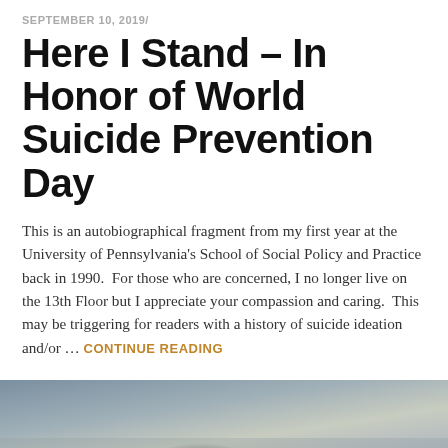SEPTEMBER 10, 2019/
Here I Stand – In Honor of World Suicide Prevention Day
This is an autobiographical fragment from my first year at the University of Pennsylvania's School of Social Policy and Practice back in 1990.  For those who are concerned, I no longer live on the 13th Floor but I appreciate your compassion and caring.  This may be triggering for readers with a history of suicide ideation and/or … CONTINUE READING
[Figure (photo): Partial photo of a person wearing a yellow/mustard knit hat, outdoors background visible at the bottom of the page]